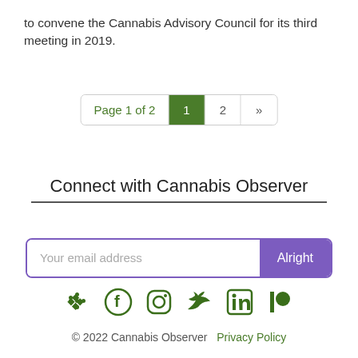to convene the Cannabis Advisory Council for its third meeting in 2019.
Page 1 of 2  1  2  »
Connect with Cannabis Observer
Your email address  Alright
[Figure (infographic): Social media icons: Slack, Facebook, Instagram, Twitter, LinkedIn, Patreon — all in dark green]
© 2022 Cannabis Observer   Privacy Policy